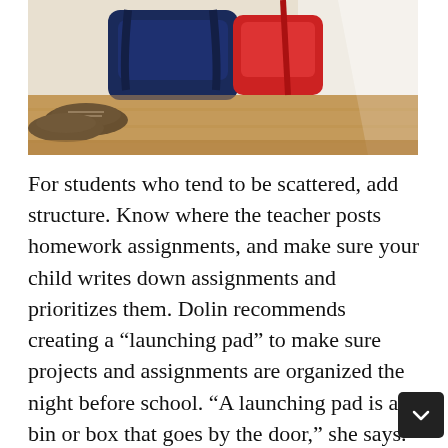[Figure (photo): Photo of school backpacks and black shoes on a wooden floor near a wall. A dark navy backpack and a red backpack are visible leaning against a white wall or cabinet.]
For students who tend to be scattered, add structure. Know where the teacher posts homework assignments, and make sure your child writes down assignments and prioritizes them. Dolin recommends creating a “launching pad” to make sure projects and assignments are organized the night before school. “A launching pad is a bin or box that goes by the door,” she says. “So maybe at 8 p.m., the kids pack their binder and their backpack and put all those things in their launching pad. Then all their belongings are in one place for the next morning.”